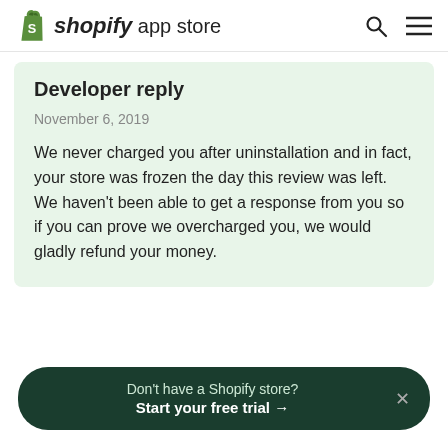shopify app store
Developer reply
November 6, 2019
We never charged you after uninstallation and in fact, your store was frozen the day this review was left. We haven't been able to get a response from you so if you can prove we overcharged you, we would gladly refund your money.
Don't have a Shopify store? Start your free trial →